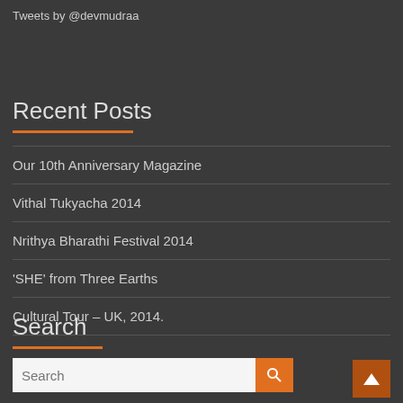Tweets by @devmudraa
Recent Posts
Our 10th Anniversary Magazine
Vithal Tukyacha 2014
Nrithya Bharathi Festival 2014
'SHE' from Three Earths
Cultural Tour – UK, 2014.
Search